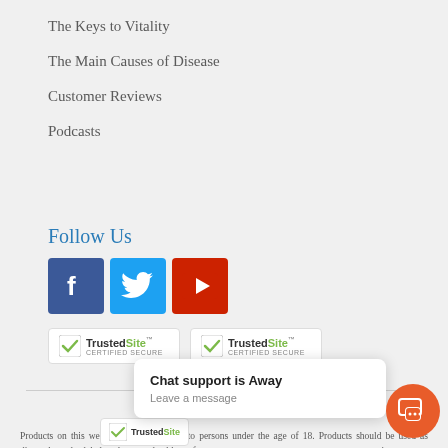The Keys to Vitality
The Main Causes of Disease
Customer Reviews
Podcasts
Follow Us
[Figure (illustration): Social media icons: Facebook (blue), Twitter (light blue), YouTube (red)]
[Figure (illustration): Two TrustedSite Certified Secure badges]
Disclaimer
Products on this website are not for sale to persons under the age of 18. Products should be used as directed on the label or by your health profe... ...nt c... nursing women. Cons... ...nu a serious medical con... ...ins... ...op... ...ctive ...ffili... ...th... ...th...
[Figure (illustration): Chat support overlay popup: 'Chat support is Away' with 'Leave a message' subtext, and an orange circular chat button icon]